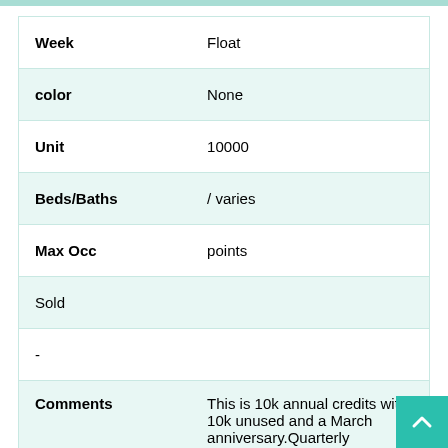| Field | Value |
| --- | --- |
| Week | Float |
| color | None |
| Unit | 10000 |
| Beds/Baths | / varies |
| Max Occ | points |
| Sold |  |
| - |  |
| Comments | This is 10k annual credits with 10k unused and a March anniversary.Quarterly |